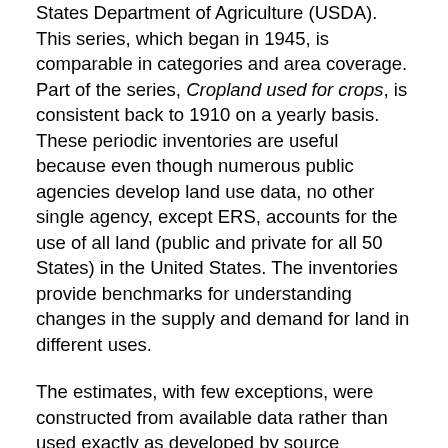States Department of Agriculture (USDA). This series, which began in 1945, is comparable in categories and area coverage. Part of the series, Cropland used for crops, is consistent back to 1910 on a yearly basis. These periodic inventories are useful because even though numerous public agencies develop land use data, no other single agency, except ERS, accounts for the use of all land (public and private for all 50 States) in the United States. The inventories provide benchmarks for understanding changes in the supply and demand for land in different uses.
The estimates, with few exceptions, were constructed from available data rather than used exactly as developed by source agencies. The latter is not possible because the source agencies develop land-use data gleaned from censuses and surveys that differ greatly in scope, methods, definitions, and other characteristics. Individual sources account for only few uses and for only a limited part of the total land area